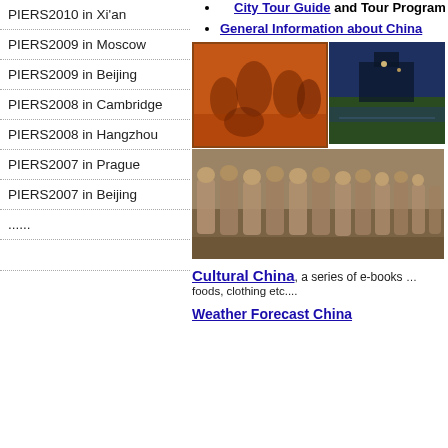PIERS2010 in Xi'an
PIERS2009 in Moscow
PIERS2009 in Beijing
PIERS2008 in Cambridge
PIERS2008 in Hangzhou
PIERS2007 in Prague
PIERS2007 in Beijing
......
City Tour Guide and Tour Program
General Information about China
[Figure (photo): Chinese painting mural with figures in orange/red tones, framed]
[Figure (photo): Night scene of Chinese city wall/water]
[Figure (photo): Terracotta warriors army in excavation pits]
Cultural China, a series of e-books ... foods, clothing etc....
Weather Forecast China